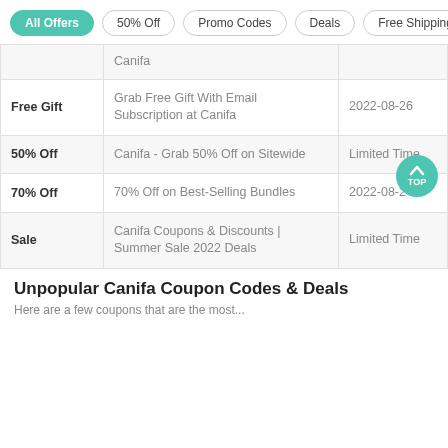All Offers  50% Off  Promo Codes  Deals  Free Shipping
| Type | Description | Date |
| --- | --- | --- |
|  | Canifa |  |
| Free Gift | Grab Free Gift With Email Subscription at Canifa | 2022-08-26 |
| 50% Off | Canifa - Grab 50% Off on Sitewide | Limited Time |
| 70% Off | 70% Off on Best-Selling Bundles | 2022-08-24 |
| Sale | Canifa Coupons & Discounts | Summer Sale 2022 Deals | Limited Time |
Unpopular Canifa Coupon Codes & Deals
Here are a few coupons that are the most...